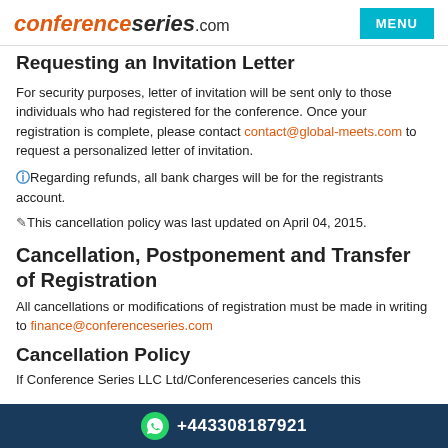conferenceseries.com | MENU
Requesting an Invitation Letter
For security purposes, letter of invitation will be sent only to those individuals who had registered for the conference. Once your registration is complete, please contact contact@global-meets.com to request a personalized letter of invitation.
Regarding refunds, all bank charges will be for the registrants account.
This cancellation policy was last updated on April 04, 2015.
Cancellation, Postponement and Transfer of Registration
All cancellations or modifications of registration must be made in writing to finance@conferenceseries.com
Cancellation Policy
If Conference Series LLC Ltd/Conferenceseries cancels this
+443308187921
registration fee paid. You may use this credit for another